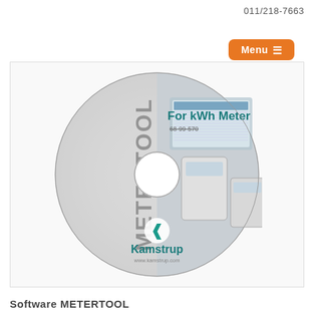011/218-7663
[Figure (other): Menu button with hamburger icon, orange background]
[Figure (photo): CD/DVD disc image of Kamstrup METERTOOL software for kWh Meter, product number 68-99-570. The disc shows the METERTOOL text vertically on the left, 'For kWh Meter' in teal bold text at top, Kamstrup logo and website www.kamstrup.com at bottom, and images of energy meters and software interface on the right half.]
Software METERTOOL